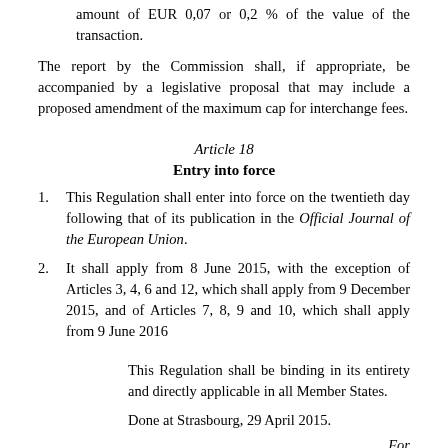amount of EUR 0,07 or 0,2 % of the value of the transaction.
The report by the Commission shall, if appropriate, be accompanied by a legislative proposal that may include a proposed amendment of the maximum cap for interchange fees.
Article 18
Entry into force
1. This Regulation shall enter into force on the twentieth day following that of its publication in the Official Journal of the European Union.
2. It shall apply from 8 June 2015, with the exception of Articles 3, 4, 6 and 12, which shall apply from 9 December 2015, and of Articles 7, 8, 9 and 10, which shall apply from 9 June 2016
This Regulation shall be binding in its entirety and directly applicable in all Member States.
Done at Strasbourg, 29 April 2015.
For